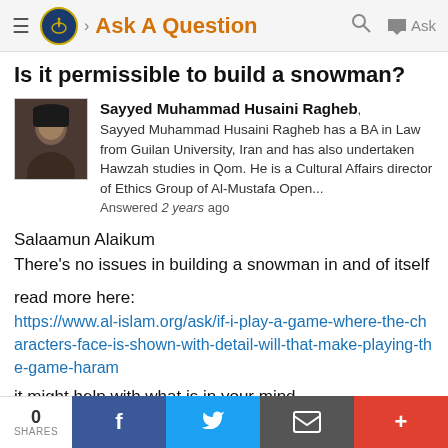Ask A Question
Is it permissible to build a snowman?
Sayyed Muhammad Husaini Ragheb, Sayyed Muhammad Husaini Ragheb has a BA in Law from Guilan University, Iran and has also undertaken Hawzah studies in Qom. He is a Cultural Affairs director of Ethics Group of Al-Mustafa Open... Answered 2 years ago
Salaamun Alaikum
There's no issues in building a snowman in and of itself
read more here:
https://www.al-islam.org/ask/if-i-play-a-game-where-the-characters-face-is-shown-with-detail-will-that-make-playing-the-game-haram
it might help with what is in your mind
0 SHARES